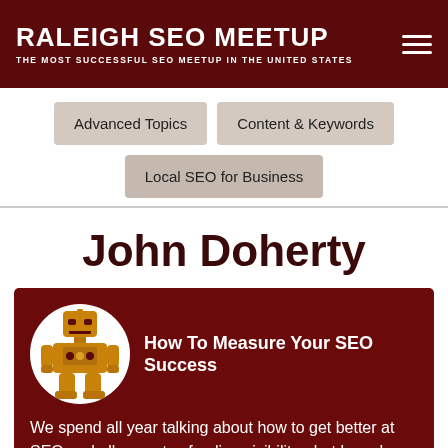RALEIGH SEO MEETUP — THE MOST SUCCESSFUL SEO MEETUP IN THE UNITED STATES
Advanced Topics
Content & Keywords
Local SEO for Business
John Doherty
How To Measure Your SEO Success
We spend all year talking about how to get better at SEO and all aspects of online visibility - but how do you measure [...]
Read More >